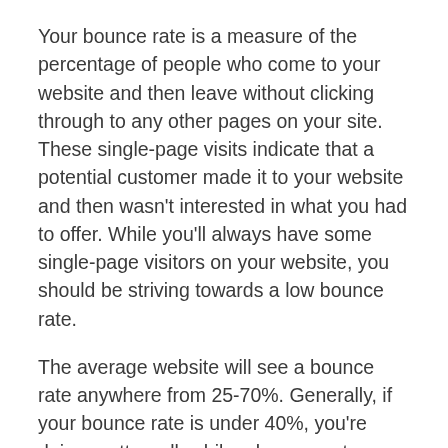Your bounce rate is a measure of the percentage of people who come to your website and then leave without clicking through to any other pages on your site. These single-page visits indicate that a potential customer made it to your website and then wasn't interested in what you had to offer. While you'll always have some single-page visitors on your website, you should be striving towards a low bounce rate.
The average website will see a bounce rate anywhere from 25-70%. Generally, if your bounce rate is under 40%, you're doing pretty well, while a bounce rate over 55% may be cause for concern. Certain types of websites, like blogs and news websites, will have higher bounce rates due to the nature of the site. Here are 4 common causes of a high bounce rate that you should fix today.